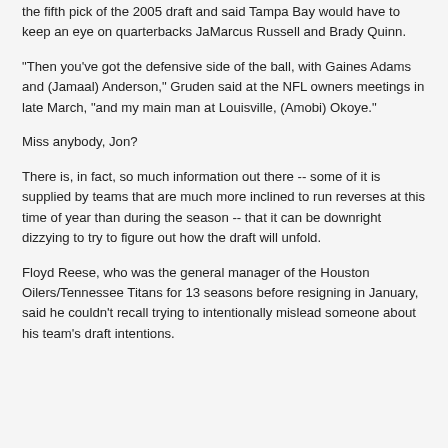the fifth pick of the 2005 draft and said Tampa Bay would have to keep an eye on quarterbacks JaMarcus Russell and Brady Quinn.
"Then you've got the defensive side of the ball, with Gaines Adams and (Jamaal) Anderson," Gruden said at the NFL owners meetings in late March, "and my main man at Louisville, (Amobi) Okoye."
Miss anybody, Jon?
There is, in fact, so much information out there -- some of it is supplied by teams that are much more inclined to run reverses at this time of year than during the season -- that it can be downright dizzying to try to figure out how the draft will unfold.
Floyd Reese, who was the general manager of the Houston Oilers/Tennessee Titans for 13 seasons before resigning in January, said he couldn't recall trying to intentionally mislead someone about his team's draft intentions.